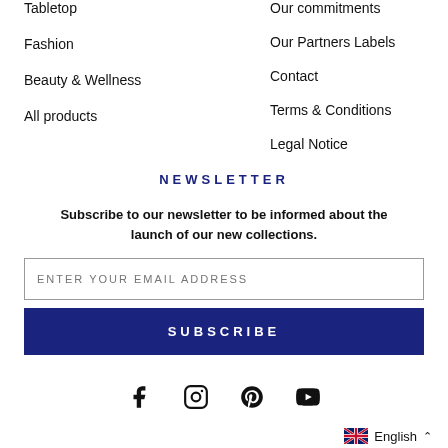Tabletop
Fashion
Beauty & Wellness
All products
Our commitments
Our Partners Labels
Contact
Terms & Conditions
Legal Notice
NEWSLETTER
Subscribe to our newsletter to be informed about the launch of our new collections.
ENTER YOUR EMAIL ADDRESS
SUBSCRIBE
[Figure (other): Social media icons: Facebook, Instagram, Pinterest, YouTube]
English